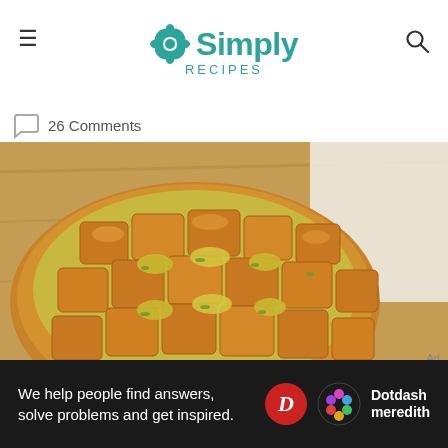Simply Recipes
26 Comments
[Figure (photo): Overhead close-up photo of a pull-apart cheese bread loaf on a wooden cutting board. The round sourdough bread is scored in a grid pattern and filled with melted cheese and green onions, with golden-brown crusty bread cubes visible.]
Ad
We help people find answers, solve problems and get inspired. Dotdash meredith